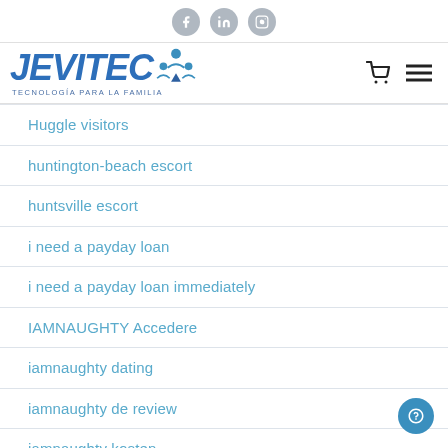JEVITEC — TECNOLOGÍA PARA LA FAMILIA (website header with social icons, logo, cart and menu)
Huggle visitors
huntington-beach escort
huntsville escort
i need a payday loan
i need a payday loan immediately
IAMNAUGHTY Accedere
iamnaughty dating
iamnaughty de review
iamnaughty kosten